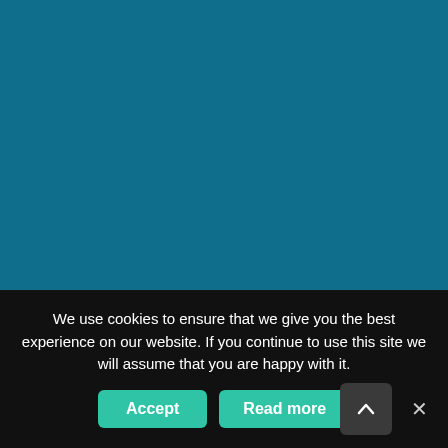[Figure (photo): Solid teal/dark cyan background filling the upper portion of the page]
We use cookies to ensure that we give you the best experience on our website. If you continue to use this site we will assume that you are happy with it.
Accept
Read more